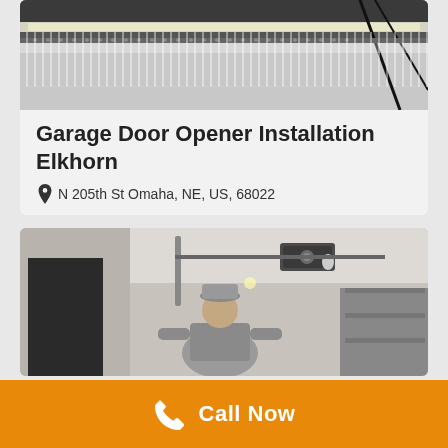[Figure (photo): Garage ceiling interior showing metal rail, LED lighting strip, and garage door opener track]
Garage Door Opener Installation Elkhorn
N 205th St Omaha, NE, US, 68022
[Figure (photo): Garage interior with a technician in a cap and grey shirt working, garage door opener unit visible on ceiling]
Call Now